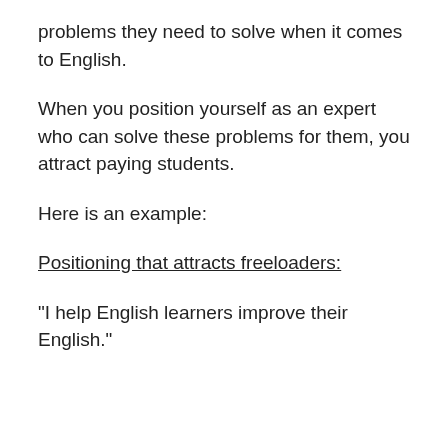problems they need to solve when it comes to English.
When you position yourself as an expert who can solve these problems for them, you attract paying students.
Here is an example:
Positioning that attracts freeloaders:
“I help English learners improve their English.”